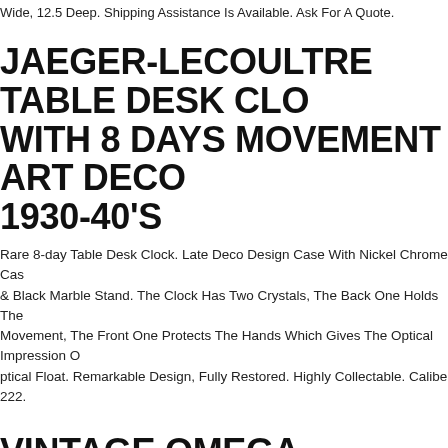Wide, 12.5 Deep. Shipping Assistance Is Available. Ask For A Quote.
JAEGER-LECOULTRE TABLE DESK CLOCK WITH 8 DAYS MOVEMENT ART DECO 1930-40'S
Rare 8-day Table Desk Clock. Late Deco Design Case With Nickel Chrome Case & Black Marble Stand. The Clock Has Two Crystals, The Back One Holds The Movement, The Front One Protects The Hands Which Gives The Optical Impression Of Optical Float. Remarkable Design, Fully Restored. Highly Collectable. Caliber 222.
VINTAGE OMEGA AMERICA DEALER WALL CLOCK IN WORKING CONDITION
Vintage Omega America Dealer Wall Clock In Working Condition.
** CARTIER** JUMBO PASHA RARE MOON FACE CALENDAR DESK CLOCK **
a Chronograph Desk Calendar Alarm Clock . 100% Rare Jumbo Pasha Desk Clock